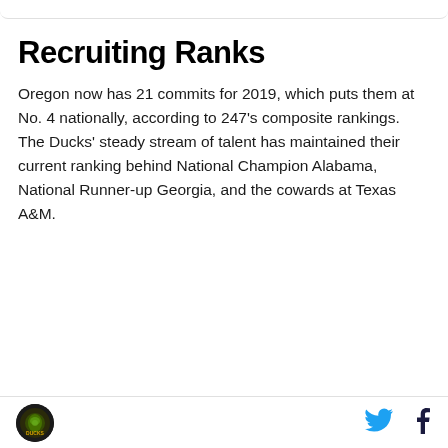Recruiting Ranks
Oregon now has 21 commits for 2019, which puts them at No. 4 nationally, according to 247’s composite rankings. The Ducks’ steady stream of talent has maintained their current ranking behind National Champion Alabama, National Runner-up Georgia, and the cowards at Texas A&M.
[Figure (logo): Oregon Ducks circular logo with dark background]
[Figure (logo): Twitter bird icon in cyan blue]
[Figure (logo): Facebook f icon in dark blue]